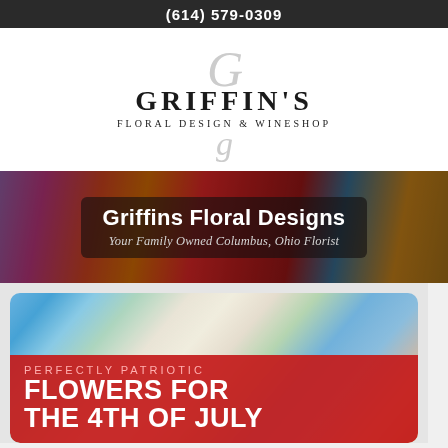(614) 579-0309
[Figure (logo): Griffin's Floral Design & Wineshop logo with decorative G letterform]
[Figure (photo): Colorful floral arrangement banner photo with text overlay: Griffins Floral Designs - Your Family Owned Columbus, Ohio Florist]
[Figure (photo): Patriotic red, white and blue flower arrangement with red overlay banner: PERFECTLY PATRIOTIC FLOWERS FOR THE 4TH OF JULY]